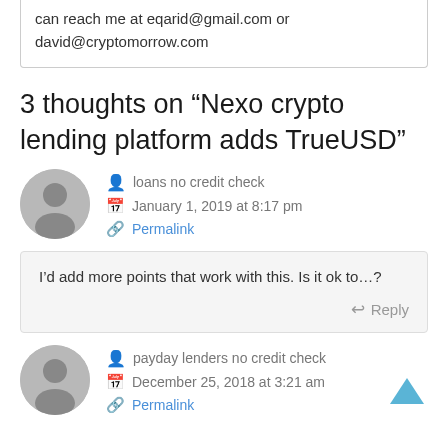can reach me at eqarid@gmail.com or david@cryptomorrow.com
3 thoughts on “Nexo crypto lending platform adds TrueUSD”
loans no credit check
January 1, 2019 at 8:17 pm
Permalink
I’d add more points that work with this. Is it ok to…?
Reply
payday lenders no credit check
December 25, 2018 at 3:21 am
Permalink